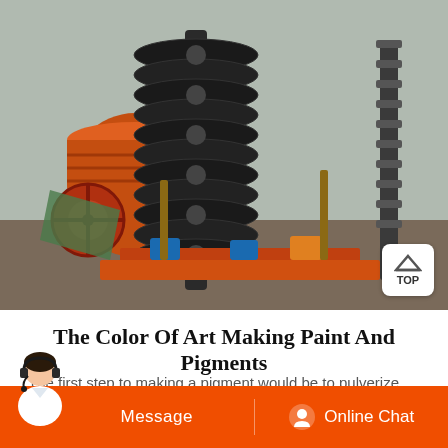[Figure (photo): Industrial spiral screw conveyor machine in a factory setting, with a large orange cylindrical drum visible on the left, and a chain-driven mechanism on the right. The conveyor has multiple black disc-shaped flights along a central shaft.]
The Color Of Art Making Paint And Pigments
The first step to making a pigment would be to pulverize and powder the substance. You may need to start with a hammer to brake it up...